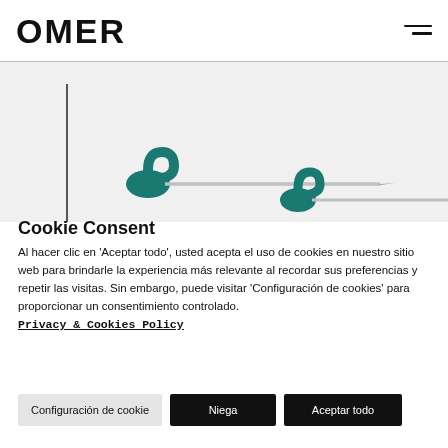OMER
[Figure (photo): Photo of two diving/spearfishing needles or spears with teal/dark green grips against a light background, partially visible from below a horizontal divider line]
Cookie Consent
Al hacer clic en 'Aceptar todo', usted acepta el uso de cookies en nuestro sitio web para brindarle la experiencia más relevante al recordar sus preferencias y repetir las visitas. Sin embargo, puede visitar 'Configuración de cookies' para proporcionar un consentimiento controlado.
Privacy & Cookies Policy
Configuración de cookie
Niega
Aceptar todo